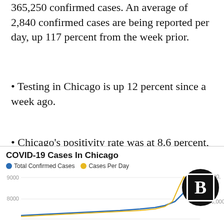365,250 confirmed cases. An average of 2,840 confirmed cases are being reported per day, up 117 percent from the week prior.
• Testing in Chicago is up 12 percent since a week ago.
• Chicago's positivity rate was at 8.6 percent, up from 4.4 percent the week prior.
1 of 2
[Figure (line-chart): Line chart showing Total Confirmed Cases (blue) and Cases Per Day (yellow/gold) over time. Y-axis left shows values around 8000-9000, Y-axis right shows 500,000-600,000. Both lines show sharp upward trend at right edge.]